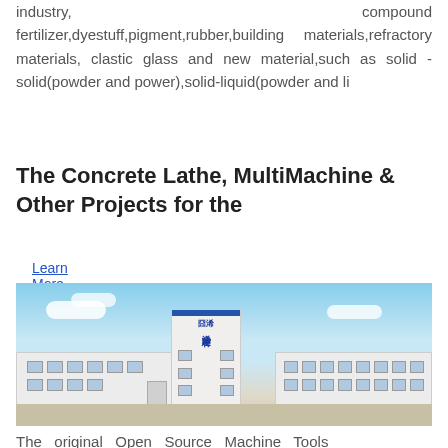industry,                                           compound fertilizer,dyestuff,pigment,rubber,building materials,refractory materials, clastic glass and new material,such as solid -solid(powder and power),solid-liquid(powder and li
Learn More
The Concrete Lathe, MultiMachine & Other Projects for the
[Figure (photo): Exterior photo of a Chinese industrial building complex. A tall white multi-story tower with blue Chinese characters and logo faces a wide low flat warehouse structure. Blue sky with clouds above, snow/dirt ground below.]
The   original   Open   Source   Machine   Tools